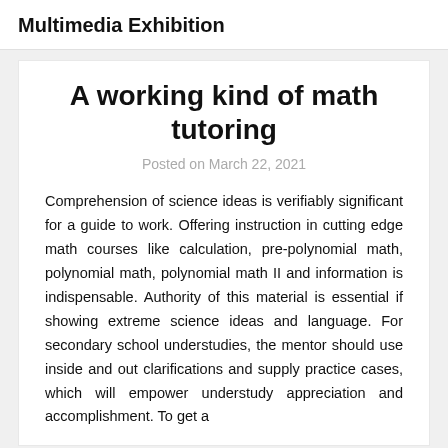Multimedia Exhibition
A working kind of math tutoring
Posted on March 22, 2021
Comprehension of science ideas is verifiably significant for a guide to work. Offering instruction in cutting edge math courses like calculation, pre-polynomial math, polynomial math, polynomial math II and information is indispensable. Authority of this material is essential if showing extreme science ideas and language. For secondary school understudies, the mentor should use inside and out clarifications and supply practice cases, which will empower understudy appreciation and accomplishment. To get a